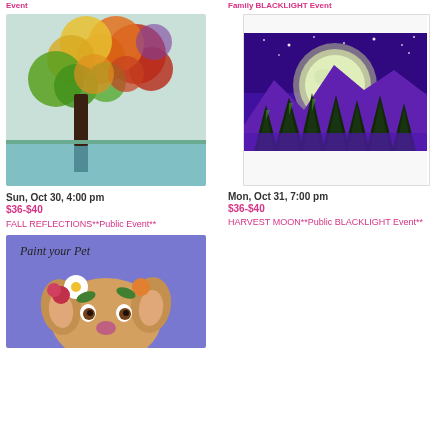Event
Family BLACKLIGHT Event
[Figure (illustration): Painting of a colorful autumn tree with yellow, orange, red and green leaves reflected in water below]
[Figure (illustration): Painting of a large moon over dark forest of pine trees under purple night sky with stars — blacklight style]
Sun, Oct 30, 4:00 pm
$36-$40
FALL REFLECTIONS**Public Event**
Mon, Oct 31, 7:00 pm
$36-$40
HARVEST MOON**Public BLACKLIGHT Event**
[Figure (illustration): Paint your Pet illustration showing a French Bulldog with flowers including daisies and roses on a blue/purple background]